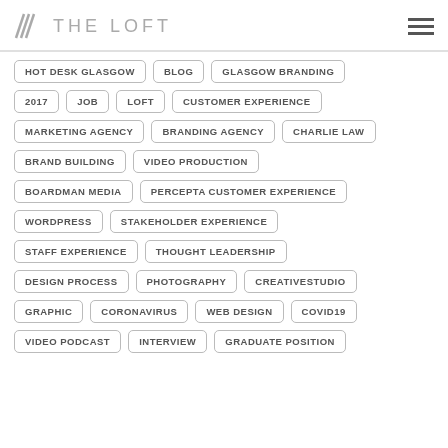THE LOFT
HOT DESK GLASGOW
BLOG
GLASGOW BRANDING
2017
JOB
LOFT
CUSTOMER EXPERIENCE
MARKETING AGENCY
BRANDING AGENCY
CHARLIE LAW
BRAND BUILDING
VIDEO PRODUCTION
BOARDMAN MEDIA
PERCEPTA CUSTOMER EXPERIENCE
WORDPRESS
STAKEHOLDER EXPERIENCE
STAFF EXPERIENCE
THOUGHT LEADERSHIP
DESIGN PROCESS
PHOTOGRAPHY
CREATIVESTUDIO
GRAPHIC
CORONAVIRUS
WEB DESIGN
COVID19
VIDEO PODCAST
INTERVIEW
GRADUATE POSITION